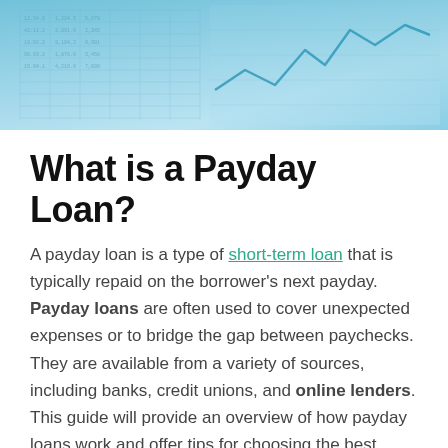[Figure (photo): Hero banner image showing financial charts, spreadsheets, and a line graph with blue/teal tones]
What is a Payday Loan?
A payday loan is a type of short-term loan that is typically repaid on the borrower's next payday. Payday loans are often used to cover unexpected expenses or to bridge the gap between paychecks. They are available from a variety of sources, including banks, credit unions, and online lenders. This guide will provide an overview of how payday loans work and offer tips for choosing the best payday loan for your needs.
Payday loan how does it